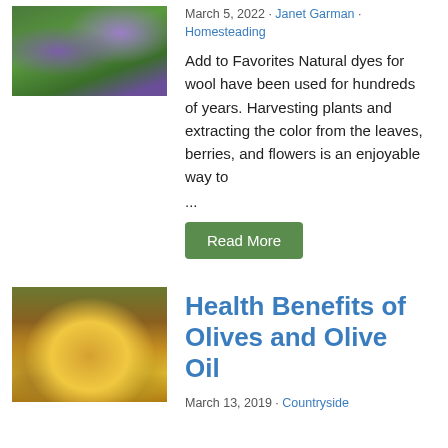[Figure (photo): Photo of plants with purple/violet flowers and green foliage]
March 5, 2022 · Janet Garman · Homesteading
Add to Favorites Natural dyes for wool have been used for hundreds of years. Harvesting plants and extracting the color from the leaves, berries, and flowers is an enjoyable way to
...
Read More
[Figure (photo): Photo of olive oil being poured into a glass bowl with olive branches and olives on a wooden surface]
Health Benefits of Olives and Olive Oil
March 13, 2019 · Countryside